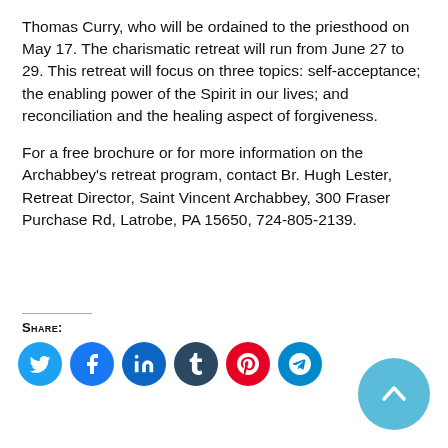Thomas Curry, who will be ordained to the priesthood on May 17. The charismatic retreat will run from June 27 to 29. This retreat will focus on three topics: self-acceptance; the enabling power of the Spirit in our lives; and reconciliation and the healing aspect of forgiveness.

For a free brochure or for more information on the Archabbey's retreat program, contact Br. Hugh Lester, Retreat Director, Saint Vincent Archabbey, 300 Fraser Purchase Rd, Latrobe, PA 15650, 724-805-2139.
Share:
[Figure (other): Social media share buttons: Twitter, Facebook, LinkedIn, Tumblr, Pinterest, Telegram]
[Figure (other): Scroll to top button — light blue circle with upward chevron arrow]